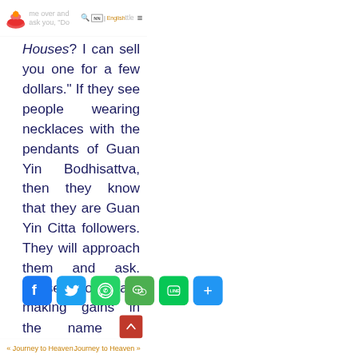Zhong Yuan Festival, somebody would come over and ask you, "Do | NN | English tta=
Houses? I can sell you one for a few dollars." If they see people wearing necklaces with the pendants of Guan Yin Bodhisattva, then they know that they are Guan Yin Citta followers. They will approach them and ask. Those people are making gains in the name of Buddhism and they will end up in hell. I hope that you will cultivate well.
[Figure (infographic): Social sharing buttons: Facebook (blue), Twitter (light blue), WhatsApp (green), WeChat (green), LINE (green), Share/More (blue)]
« Journey to Heaven    Journey to Heaven »